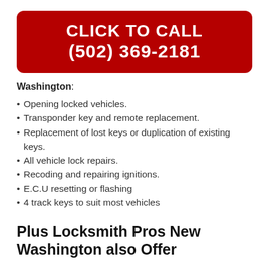CLICK TO CALL
(502) 369-2181
Washington:
Opening locked vehicles.
Transponder key and remote replacement.
Replacement of lost keys or duplication of existing keys.
All vehicle lock repairs.
Recoding and repairing ignitions.
E.C.U resetting or flashing
4 track keys to suit most vehicles
Plus Locksmith Pros New Washington also Offer